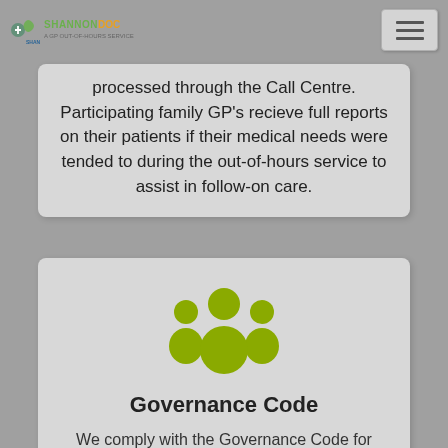Shannon Doc logo and navigation
processed through the Call Centre. Participating family GP's recieve full reports on their patients if their medical needs were tended to during the out-of-hours service to assist in follow-on care.
[Figure (illustration): Green icon showing a group of people (community/team silhouette)]
Governance Code
We comply with the Governance Code for community, voluntary and charitable organisations in Ireland. We reviewed our